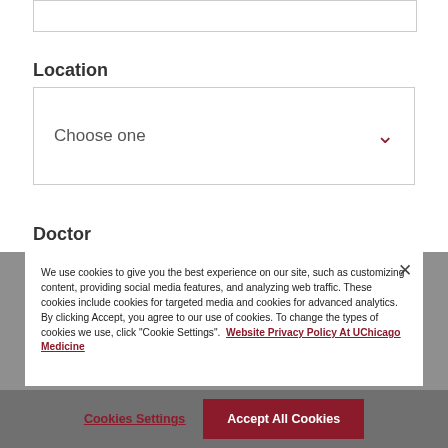[Input box - top, partially cut off]
Location
Choose one
Doctor
We use cookies to give you the best experience on our site, such as customizing content, providing social media features, and analyzing web traffic. These cookies include cookies for targeted media and cookies for advanced analytics. By clicking Accept, you agree to our use of cookies. To change the types of cookies we use, click "Cookie Settings".  Website Privacy Policy At UChicago Medicine
Cookies Settings
Accept All Cookies